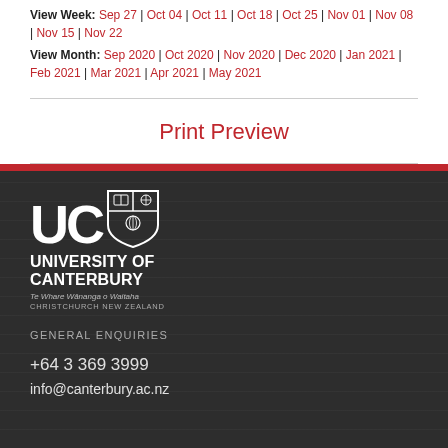View Week: Sep 27 | Oct 04 | Oct 11 | Oct 18 | Oct 25 | Nov 01 | Nov 08 | Nov 15 | Nov 22
View Month: Sep 2020 | Oct 2020 | Nov 2020 | Dec 2020 | Jan 2021 | Feb 2021 | Mar 2021 | Apr 2021 | May 2021
Print Preview
[Figure (logo): University of Canterbury logo: UC letters with shield, UNIVERSITY OF CANTERBURY, Te Whare Wānanga o Waitaha, CHRISTCHURCH NEW ZEALAND]
GENERAL ENQUIRIES
+64 3 369 3999
info@canterbury.ac.nz